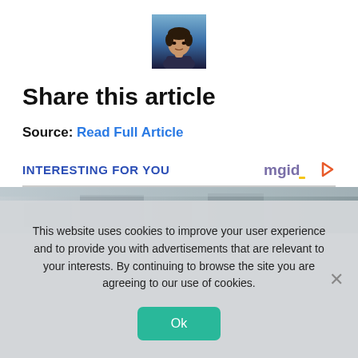[Figure (photo): Headshot photo of a male athlete/player against a blue stadium background]
Share this article
Source: Read Full Article
INTERESTING FOR YOU
[Figure (photo): Partial image of an outdoor scene with structures in a wintry/grey setting]
This website uses cookies to improve your user experience and to provide you with advertisements that are relevant to your interests. By continuing to browse the site you are agreeing to our use of cookies.